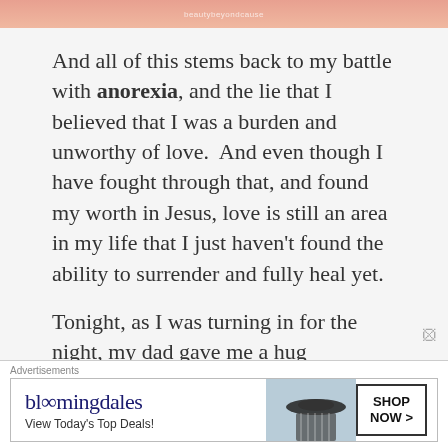[Figure (photo): Top strip of a photo, appears to be a food or beauty image with warm pink/orange tones, with a watermark reading 'beautybeyondcause']
And all of this stems back to my battle with anorexia, and the lie that I believed that I was a burden and unworthy of love.  And even though I have fought through that, and found my worth in Jesus, love is still an area in my life that I just haven't found the ability to surrender and fully heal yet.
Tonight, as I was turning in for the night, my dad gave me a hug goodnight, and he just held me a little longer and said, “Don’t be afraid to let somebody love you, okay? It’s good. It’s really, really
Advertisements
[Figure (screenshot): Bloomingdale's advertisement banner with logo, 'View Today's Top Deals!' tagline, a woman in a wide-brim hat, and a 'SHOP NOW >' button]